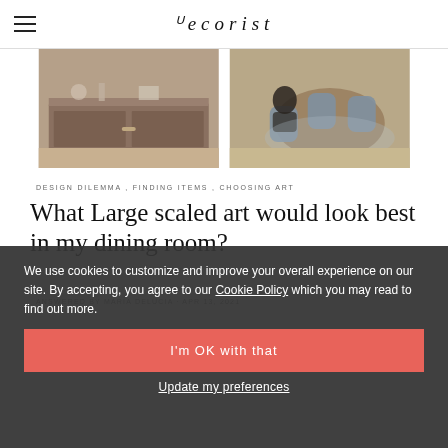decorist
[Figure (photo): Two dining room interior photos side by side: left shows a wooden sideboard/buffet with decorative items on parquet flooring, right shows a round dining table with grey chairs and a person seated, on a patterned rug, also parquet flooring.]
DESIGN DILEMMA , FINDING ITEMS , CHOOSING ART
What Large scaled art would look best in my dining room?
ANSWERED BY MARIA DELUCIA · APR 13, 2021
Thanks for coming to the Decorist Design Bar with your question!...
You have some wonderful furniture in your dining
We use cookies to customize and improve your overall experience on our site. By accepting, you agree to our Cookie Policy which you may read to find out more.
I'm OK with that
Update my preferences